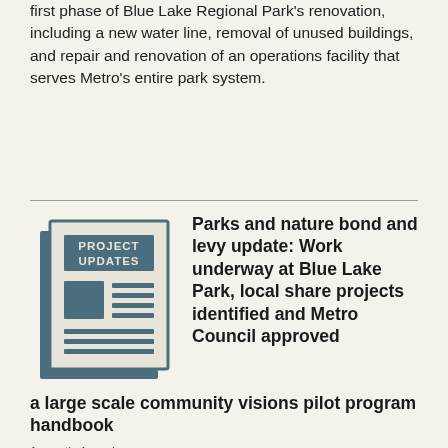first phase of Blue Lake Regional Park's renovation, including a new water line, removal of unused buildings, and repair and renovation of an operations facility that serves Metro's entire park system.
[Figure (illustration): Project Updates icon showing a stylized newspaper/document graphic with dark teal color]
Parks and nature bond and levy update: Work underway at Blue Lake Park, local share projects identified and Metro Council approved a large scale community visions pilot program handbook
1 month 4 weeks ago
Metro's current parks and nature levy funding expires in 2023 and the Metro Council is considering asking voters to renew the levy in the near future. Bond-funded work is underway at Blue Lake Park, a public comment period for the trails grant program concluded on